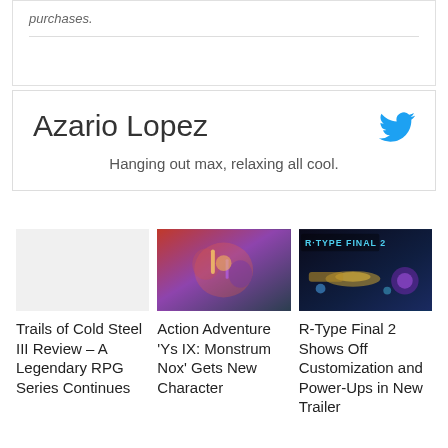purchases.
Azario Lopez
Hanging out max, relaxing all cool.
[Figure (illustration): Action Adventure Ys IX Monstrum Nox game artwork with colorful fantasy characters]
[Figure (screenshot): R-Type Final 2 game screenshot showing spaceship in dark space environment with text overlay R-TYPE FINAL 2]
Trails of Cold Steel III Review – A Legendary RPG Series Continues
Action Adventure 'Ys IX: Monstrum Nox' Gets New Character
R-Type Final 2 Shows Off Customization and Power-Ups in New Trailer